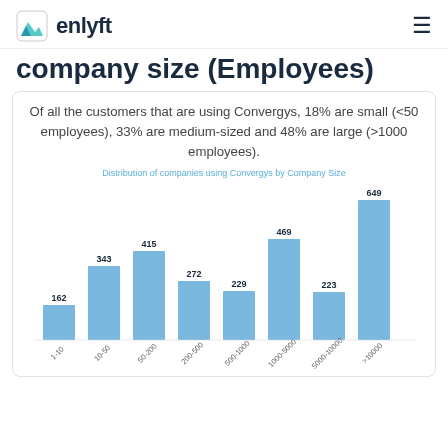enlyft
company size (Employees)
Of all the customers that are using Convergys, 18% are small (<50 employees), 33% are medium-sized and 48% are large (>1000 employees).
[Figure (bar-chart): Distribution of companies using Convergys by Company Size]